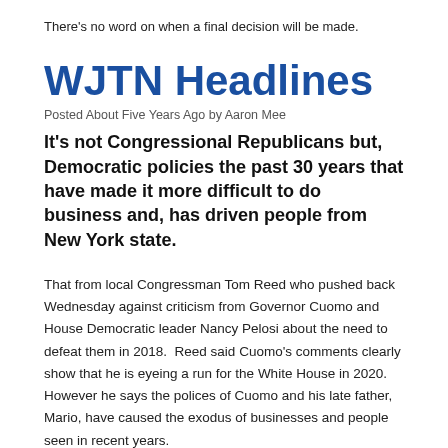There's no word on when a final decision will be made.
WJTN Headlines
Posted About Five Years Ago by Aaron Mee
It's not Congressional Republicans but, Democratic policies the past 30 years that have made it more difficult to do business and, has driven people from New York state.
That from local Congressman Tom Reed who pushed back Wednesday against criticism from Governor Cuomo and House Democratic leader Nancy Pelosi about the need to defeat them in 2018.  Reed said Cuomo's comments clearly show that he is eyeing a run for the White House in 2020.  However he says the polices of Cuomo and his late father, Mario, have caused the exodus of businesses and people seen in recent years.